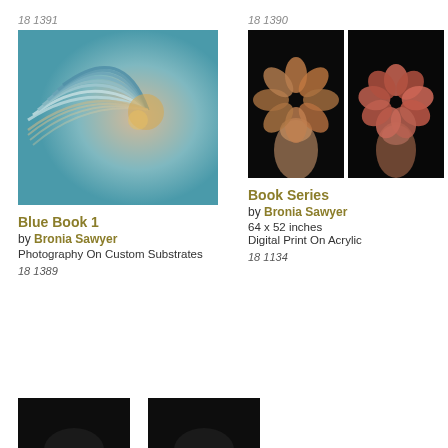18 1391
18 1390
[Figure (photo): Close-up macro photograph of layered blue/teal and gold rippling wave-like abstract forms]
Blue Book 1
by Bronia Sawyer
Photography On Custom Substrates
18 1389
[Figure (photo): Two photographs of sculptural flower-like forms made of copper/bronze-colored petals worn over a person's head, against black backgrounds]
Book Series
by Bronia Sawyer
64 x 52 inches
Digital Print On Acrylic
18 1134